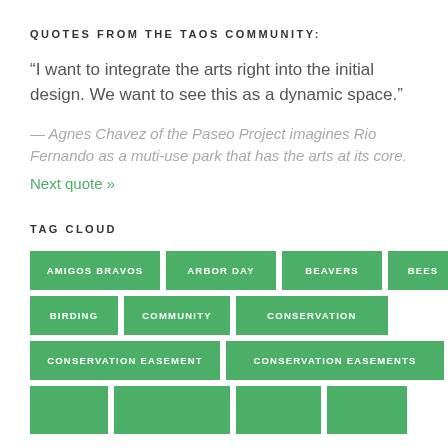QUOTES FROM THE TAOS COMMUNITY:
“I want to integrate the arts right into the initial design. We want to see this as a dynamic space.”
— Agnes Chavez of the Paseo Project imagines Rio Fernando as a muti-use park that has the arts at its core.
Next quote »
TAG CLOUD
AMIGOS BRAVOS
ARBOR DAY
BEAVERS
BEES
BIRDING
COMMUNITY
CONSERVATION
CONSERVATION EASEMENT
CONSERVATION EASEMENTS